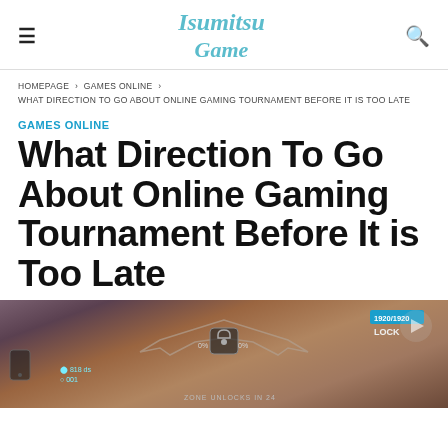Isumitsu Game
HOMEPAGE > GAMES ONLINE > WHAT DIRECTION TO GO ABOUT ONLINE GAMING TOURNAMENT BEFORE IT IS TOO LATE
GAMES ONLINE
What Direction To Go About Online Gaming Tournament Before It is Too Late
[Figure (screenshot): Screenshot of an online gaming tournament interface showing a lock icon badge with wings, zone unlock timer, player stats, and score overlay]